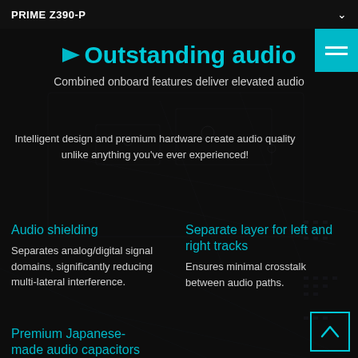PRIME Z390-P
Outstanding audio
Combined onboard features deliver elevated audio
Intelligent design and premium hardware create audio quality unlike anything you've ever experienced!
Audio shielding
Separates analog/digital signal domains, significantly reducing multi-lateral interference.
Separate layer for left and right tracks
Ensures minimal crosstalk between audio paths.
Premium Japanese-made audio capacitors